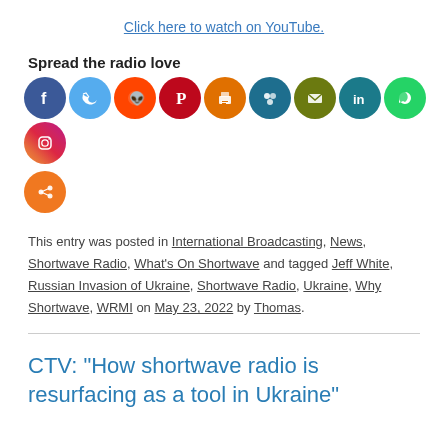Click here to watch on YouTube.
Spread the radio love
[Figure (illustration): Row of social media sharing icons: Facebook (blue), Twitter (light blue), Reddit (orange), Pinterest (red), Print (orange), Friendfeed (teal), Email (olive), LinkedIn (dark teal), WhatsApp (green), Instagram (gradient purple-orange), and a general share icon (orange)]
This entry was posted in International Broadcasting, News, Shortwave Radio, What's On Shortwave and tagged Jeff White, Russian Invasion of Ukraine, Shortwave Radio, Ukraine, Why Shortwave, WRMI on May 23, 2022 by Thomas.
CTV: “How shortwave radio is resurfacing as a tool in Ukraine”